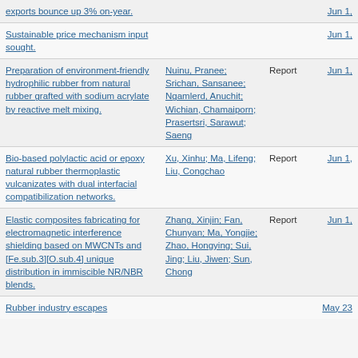| Title | Author(s) | Type | Date |
| --- | --- | --- | --- |
| exports bounce up 3% on-year. |  |  | Jun 1, |
| Sustainable price mechanism input sought. |  |  | Jun 1, |
| Preparation of environment-friendly hydrophilic rubber from natural rubber grafted with sodium acrylate by reactive melt mixing. | Nuinu, Pranee; Srichan, Sansanee; Ngamlerd, Anuchit; Wichian, Chamaiporn; Prasertsri, Sarawut; Saeng | Report | Jun 1, |
| Bio-based polylactic acid or epoxy natural rubber thermoplastic vulcanizates with dual interfacial compatibilization networks. | Xu, Xinhu; Ma, Lifeng; Liu, Congchao | Report | Jun 1, |
| Elastic composites fabricating for electromagnetic interference shielding based on MWCNTs and [Fe.sub.3][O.sub.4] unique distribution in immiscible NR/NBR blends. | Zhang, Xinjin; Fan, Chunyan; Ma, Yongjie; Zhao, Hongying; Sui, Jing; Liu, Jiwen; Sun, Chong | Report | Jun 1, |
| Rubber industry escapes |  |  | May 23 |